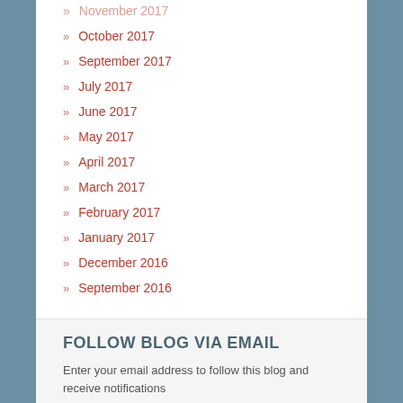November 2017
October 2017
September 2017
July 2017
June 2017
May 2017
April 2017
March 2017
February 2017
January 2017
December 2016
September 2016
FOLLOW BLOG VIA EMAIL
Enter your email address to follow this blog and receive notifications